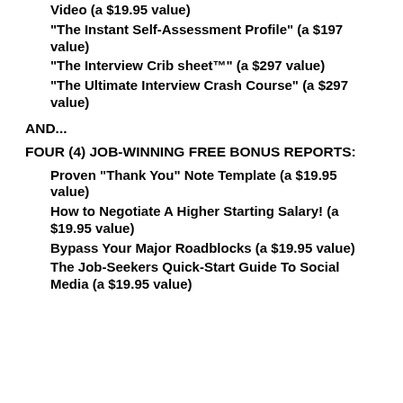Video (a $19.95 value)
“The Instant Self-Assessment Profile” (a $197 value)
“The Interview Crib sheet™” (a $297 value)
“The Ultimate Interview Crash Course” (a $297 value)
AND...
FOUR (4) JOB-WINNING FREE BONUS REPORTS:
Proven “Thank You” Note Template (a $19.95 value)
How to Negotiate A Higher Starting Salary! (a $19.95 value)
Bypass Your Major Roadblocks (a $19.95 value)
The Job-Seekers Quick-Start Guide To Social Media (a $19.95 value)